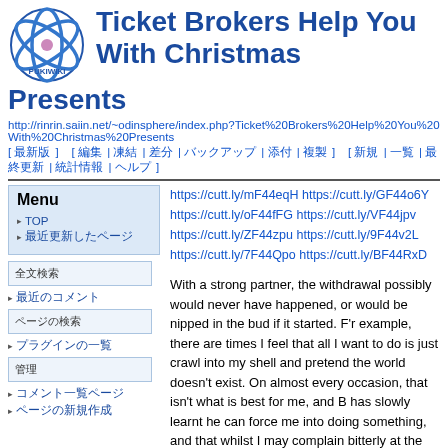[Figure (logo): PukiWiki logo - blue atomic/orbital design with pink center dot and PUKIWIKI text]
Ticket Brokers Help You With Christmas Presents
http://rinrin.saiin.net/~odinsphere/index.php?Ticket%20Brokers%20Help%20You%20With%20Christmas%20Presents
[ 最新版 ]   [ 編集 | 凍結 | 差分 | バックアップ | 添付 | 複製 | 名前変更 ]   [ 新規 | 一覧 | 最終更新 | 統計情報 | ヘルプ ]
Menu
TOP
最近更新したページ
全文検索
最近のコメント
ページの検索
プラグインの一覧
管理
コメント一覧ページ
ページの新規作成
https://cutt.ly/mF44eqH https://cutt.ly/GF44o6Y https://cutt.ly/oF44fFG https://cutt.ly/VF44jpv https://cutt.ly/ZF44zpu https://cutt.ly/9F44v2L https://cutt.ly/7F44Qpo https://cutt.ly/BF44RxD
With a strong partner, the withdrawal possibly would never have happened, or would be nipped in the bud if it started. F'r example, there are times I feel that all I want to do is just crawl into my shell and pretend the world doesn't exist. On almost every occasion, that isn't what is best for me, and B has slowly learnt he can force me into doing something, and that whilst I may complain bitterly at the start, by the end of the day I'll have thoroughly enjoyed myself. (It's an entirely different matter if in